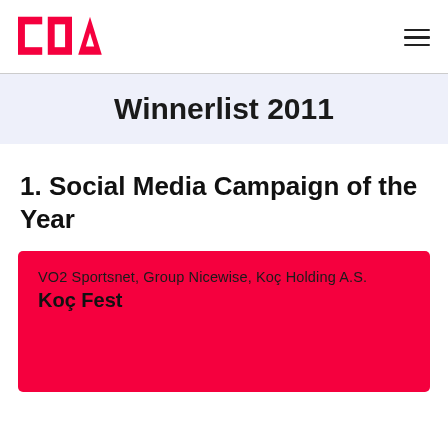DCA logo and navigation
Winnerlist 2011
1. Social Media Campaign of the Year
VO2 Sportsnet, Group Nicewise, Koç Holding A.S.
Koç Fest